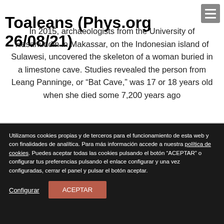Toaleans (Phys.org 26/08/21)
In 2015, archaeologists from the University of Hasanuddin in Makassar, on the Indonesian island of Sulawesi, uncovered the skeleton of a woman buried in a limestone cave. Studies revealed the person from Leang Panninge, or “Bat Cave,” was 17 or 18 years old when she died some 7,200 years ago
Utilizamos cookies propias y de terceros para el funcionamiento de esta web y con finalidades de analítica. Para más información accede a nuestra política de cookies. Puedes aceptar todas las cookies pulsando el botón "ACEPTAR" o configurar tus preferencias pulsando el enlace configurar y una vez configuradas, cerrar el panel y pulsar el botón aceptar.
Configurar
ACEPTAR